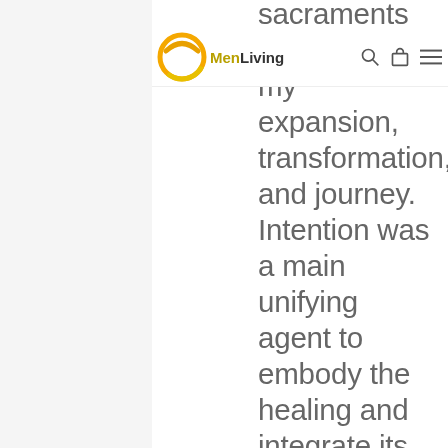MenLiving
sacraments to continue my expansion, transformation, and journey. Intention was a main unifying agent to embody the healing and integrate its lessons.  I constantly review the power of set, setting, and sitter as safety is a high priority for me while my transformation moves forward.
My soul is feeling its core values. I become centered quicker and more often. My inner